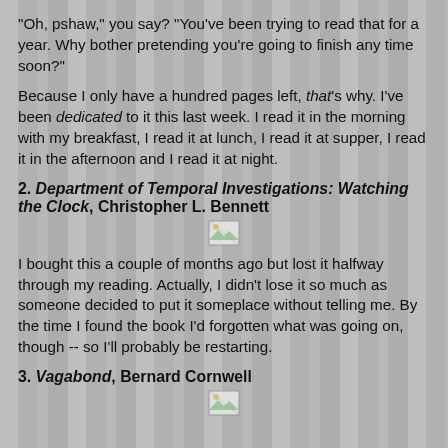"Oh, pshaw," you say? "You've been trying to read that for a year. Why bother pretending you're going to finish any time soon?"
Because I only have a hundred pages left, that's why. I've been dedicated to it this last week. I read it in the morning with my breakfast, I read it at lunch, I read it at supper, I read it in the afternoon and I read it at night.
2. Department of Temporal Investigations: Watching the Clock, Christopher L. Bennett
[Figure (other): Small broken image icon placeholder]
I bought this a couple of months ago but lost it halfway through my reading. Actually, I didn't lose it so much as someone decided to put it someplace without telling me. By the time I found the book I'd forgotten what was going on, though -- so I'll probably be restarting.
3. Vagabond, Bernard Cornwell
[Figure (other): Small broken image icon placeholder]